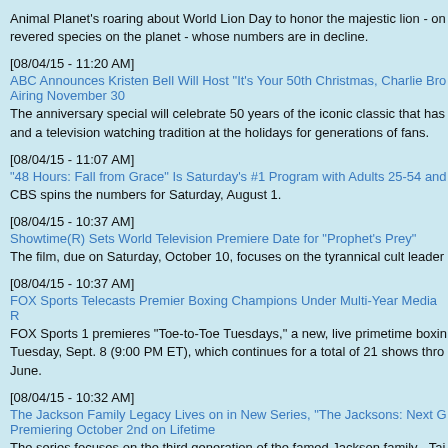Animal Planet's roaring about World Lion Day to honor the majestic lion - one of the most revered species on the planet - whose numbers are in decline.
[08/04/15 - 11:20 AM]
ABC Announces Kristen Bell Will Host "It's Your 50th Christmas, Charlie Brown," Airing November 30
The anniversary special will celebrate 50 years of the iconic classic that has been and a television watching tradition at the holidays for generations of fans.
[08/04/15 - 11:07 AM]
"48 Hours: Fall from Grace" Is Saturday's #1 Program with Adults 25-54 and
CBS spins the numbers for Saturday, August 1.
[08/04/15 - 10:37 AM]
Showtime(R) Sets World Television Premiere Date for "Prophet's Prey"
The film, due on Saturday, October 10, focuses on the tyrannical cult leader
[08/04/15 - 10:37 AM]
FOX Sports Telecasts Premier Boxing Champions Under Multi-Year Media R
FOX Sports 1 premieres "Toe-to-Toe Tuesdays," a new, live primetime boxing Tuesday, Sept. 8 (9:00 PM ET), which continues for a total of 21 shows through June.
[08/04/15 - 10:32 AM]
The Jackson Family Legacy Lives on in New Series, "The Jacksons: Next G Premiering October 2nd on Lifetime
The series focuses on the third generation of the famed Jackson family - Taj - Tito Jackson's sons and nephews of the famed Jackson 5.